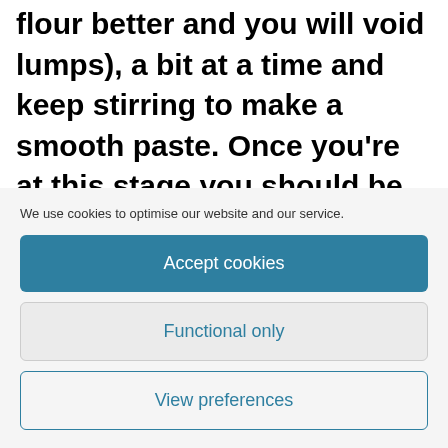Add some stock (if it's hot it will blend with the flour better and you will void lumps), a bit at a time and keep stirring to make a smooth paste. Once you're at this stage you should be able to add the rest of the stock with no problems. Keep stirring until the sauce comes to a
We use cookies to optimise our website and our service.
Accept cookies
Functional only
View preferences